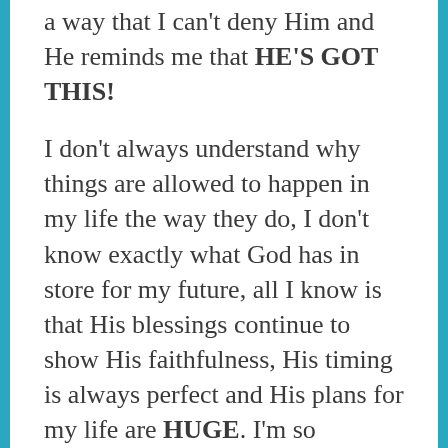a way that I can't deny Him and He reminds me that HE'S GOT THIS!
I don't always understand why things are allowed to happen in my life the way they do, I don't know exactly what God has in store for my future, all I know is that His blessings continue to show His faithfulness, His timing is always perfect and His plans for my life are HUGE. I'm so unbelievably happy that I allowed Him back into my life and gave Him back the control.